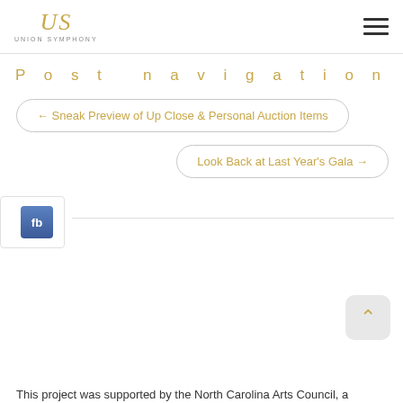Union Symphony
Post navigation
← Sneak Preview of Up Close & Personal Auction Items
Look Back at Last Year's Gala →
[Figure (logo): Facebook share button]
This project was supported by the North Carolina Arts Council, a